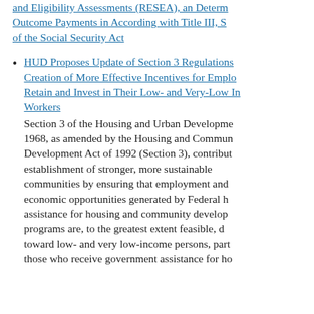and Eligibility Assessments (RESEA), an Determi... Outcome Payments in According with Title III, S... of the Social Security Act
HUD Proposes Update of Section 3 Regulations... Creation of More Effective Incentives for Emplo... Retain and Invest in Their Low- and Very-Low In... Workers
Section 3 of the Housing and Urban Developme... 1968, as amended by the Housing and Commun... Development Act of 1992 (Section 3), contribut... establishment of stronger, more sustainable communities by ensuring that employment and... economic opportunities generated by Federal h... assistance for housing and community develop... programs are, to the greatest extent feasible, d... toward low- and very low-income persons, part... those who receive government assistance for ho...